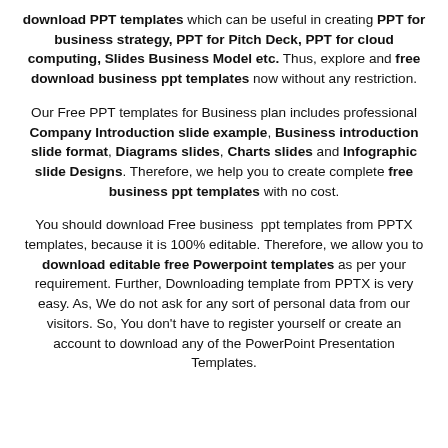download PPT templates which can be useful in creating PPT for business strategy, PPT for Pitch Deck, PPT for cloud computing, Slides Business Model etc. Thus, explore and free download business ppt templates now without any restriction.
Our Free PPT templates for Business plan includes professional Company Introduction slide example, Business introduction slide format, Diagrams slides, Charts slides and Infographic slide Designs. Therefore, we help you to create complete free business ppt templates with no cost.
You should download Free business ppt templates from PPTX templates, because it is 100% editable. Therefore, we allow you to download editable free Powerpoint templates as per your requirement. Further, Downloading template from PPTX is very easy. As, We do not ask for any sort of personal data from our visitors. So, You don't have to register yourself or create an account to download any of the PowerPoint Presentation Templates.